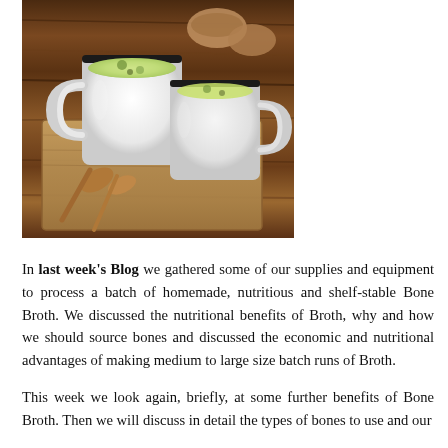[Figure (photo): Two white enamel mugs filled with green broth or soup, placed on a wooden cutting board with wooden spoons, on a rustic wooden table surface. Small wooden bowls visible in background.]
In last week's Blog we gathered some of our supplies and equipment to process a batch of homemade, nutritious and shelf-stable Bone Broth. We discussed the nutritional benefits of Broth, why and how we should source bones and discussed the economic and nutritional advantages of making medium to large size batch runs of Broth.
This week we look again, briefly, at some further benefits of Bone Broth. Then we will discuss in detail the types of bones to use and our